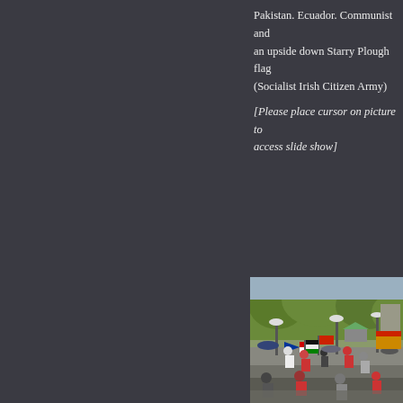Pakistan. Ecuador. Communist and an upside down Starry Plough flag (Socialist Irish Citizen Army) [Please place cursor on picture to access slide show]
[Figure (photo): Outdoor rally or protest scene in what appears to be a city park or plaza. People carrying various flags including a Puerto Rican flag and other national and political flags. Crowd with umbrellas in rainy weather. Trees, lamp posts, and a statue visible in the background. Vendor or information tents visible.]